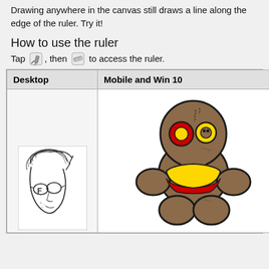Drawing anywhere in the canvas still draws a line along the edge of the ruler. Try it!
How to use the ruler
Tap [pencil icon], then [ruler icon] to access the ruler.
| Desktop | Mobile and Win 10 |
| --- | --- |
| [sketch drawing image] | [voodoo doll illustration] |